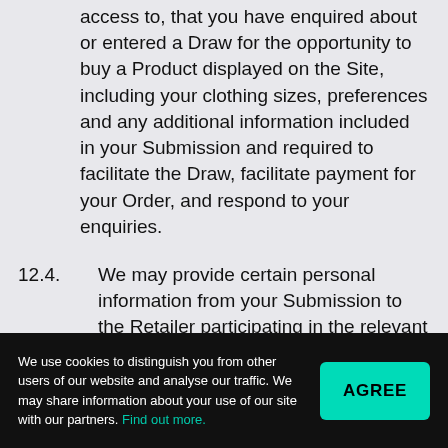access to, that you have enquired about or entered a Draw for the opportunity to buy a Product displayed on the Site, including your clothing sizes, preferences and any additional information included in your Submission and required to facilitate the Draw, facilitate payment for your Order, and respond to your enquiries.
12.4. We may provide certain personal information from your Submission to the Retailer participating in the relevant Launch.
12.5. We may also use and disclose to third parties information that has been developed from your personal information, for the purposes of
We use cookies to distinguish you from other users of our website and analyse our traffic. We may share information about your use of our site with our partners. Find out more.